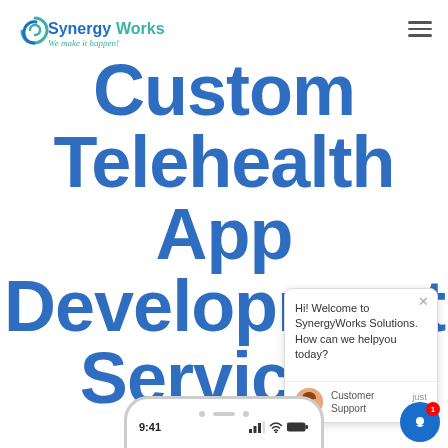[Figure (logo): SynergyWorks logo with teal swirl icon and tagline 'We make it happen!']
Custom Telehealth App Development Services
[Figure (screenshot): Chat popup widget: 'Hi! Welcome to SynergyWorks Solutions. How can we help you today?' with Customer Support avatar and 'just now' timestamp]
[Figure (screenshot): Bottom of phone mockup showing status bar with time 9:41 and status icons]